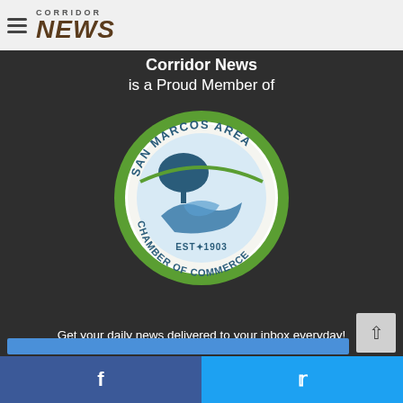[Figure (logo): Corridor News logo with hamburger menu icon on light grey header bar]
Corridor News
is a Proud Member of
[Figure (logo): San Marcos Area Chamber of Commerce circular badge/seal, green border, EST 1903, with tree and river illustration]
Get your daily news delivered to your inbox everyday!
[Figure (infographic): Facebook and Twitter social share buttons at the bottom of the page]